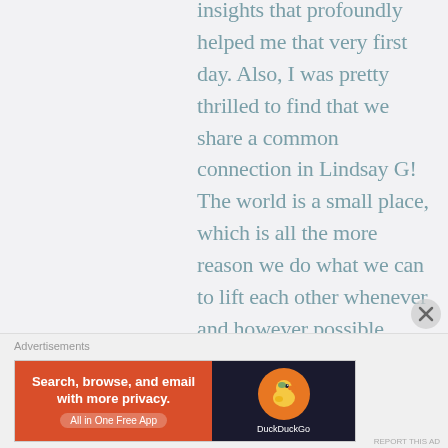insights that profoundly helped me that very first day. Also, I was pretty thrilled to find that we share a common connection in Lindsay G! The world is a small place, which is all the more reason we do what we can to lift each other whenever and however possible.
Advertisements
[Figure (other): DuckDuckGo advertisement banner: orange-red left side with text 'Search, browse, and email with more privacy. All in One Free App' and dark right side with DuckDuckGo duck logo]